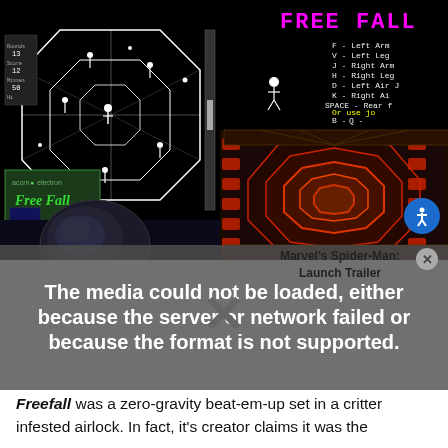[Figure (screenshot): Collage of video game screenshots: top-left shows Freefall game on Acorn Electron (black background, octagonal grid, stick figures floating), top-right shows Free Fall arcade/PC game menu screen with pink pixelated title and key controls listed, bottom-right shows a 3D sci-fi corridor with red hexagonal lights, bottom-left shows a space/astronaut 3D rendered scene.]
[Figure (screenshot): Video player overlay showing error message: 'The media could not be loaded, either because the server or network failed or because the format is not supported.' with a large X symbol. Overlapping text label reads 'Marvel's Spider-Man: Launch Trailer'. Close button visible top right.]
Freefall was a zero-gravity beat-em-up set in a critter infested airlock. In fact, it's creator claims it was the